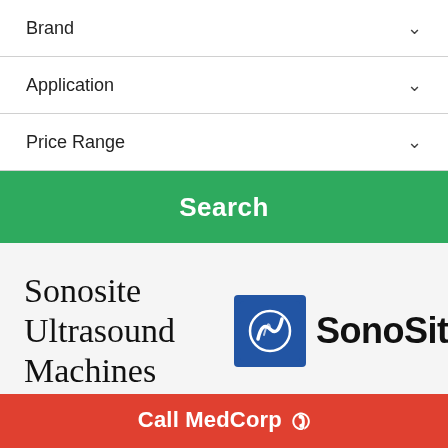Brand
Application
Price Range
Search
Sonosite Ultrasound Machines
[Figure (logo): SonoSite logo: blue square with white S-wave graphic, beside bold text 'SonoSite']
MedCorp has a full line of Sonosite ultrasound
Call MedCorp